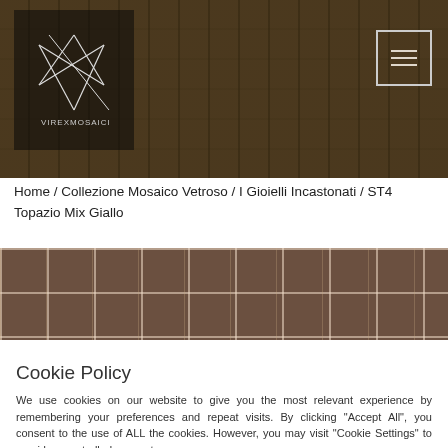[Figure (screenshot): Website header with dark mosaic tile background, Virex Mosaici logo on left, hamburger menu icon on right]
Home / Collezione Mosaico Vetroso / I Gioielli Incastonati / ST4 Topazio Mix Giallo
[Figure (photo): Horizontal strip of dark brown/topaz mosaic glass tiles with search icon overlay]
Cookie Policy
We use cookies on our website to give you the most relevant experience by remembering your preferences and repeat visits. By clicking "Accept All", you consent to the use of ALL the cookies. However, you may visit "Cookie Settings" to provide a controlled consent.
Cookie Settings | Accept All